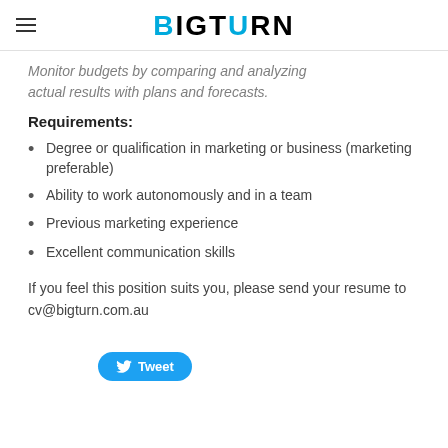BIGTURN
Monitor budgets by comparing and analyzing actual results with plans and forecasts.
Requirements:
Degree or qualification in marketing or business (marketing preferable)
Ability to work autonomously and in a team
Previous marketing experience
Excellent communication skills
If you feel this position suits you, please send your resume to cv@bigturn.com.au